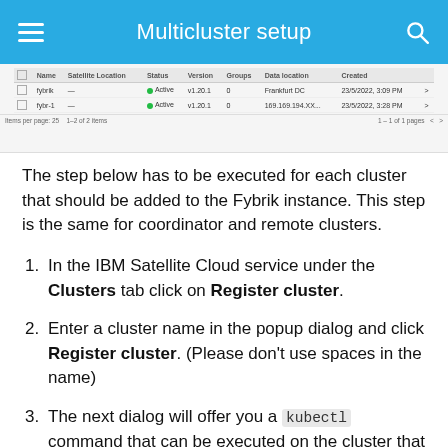Multicluster setup
[Figure (screenshot): A table UI from IBM Satellite Cloud service showing two clusters: fybrik and fybr-1, both with Active status, version v1.20.1, and data location fields.]
The step below has to be executed for each cluster that should be added to the Fybrik instance. This step is the same for coordinator and remote clusters.
In the IBM Satellite Cloud service under the Clusters tab click on Register cluster.
Enter a cluster name in the popup dialog and click Register cluster. (Please don't use spaces in the name)
The next dialog will offer you a kubectl command that can be executed on the cluster that should be attached.
After executing the kubectl command the Ran...